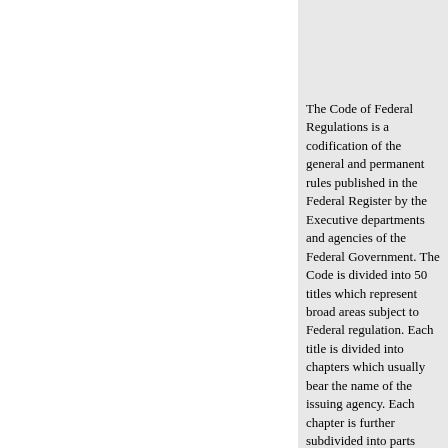The Code of Federal Regulations is a codification of the general and permanent rules published in the Federal Register by the Executive departments and agencies of the Federal Government. The Code is divided into 50 titles which represent broad areas subject to Federal regulation. Each title is divided into chapters which usually bear the name of the issuing agency. Each chapter is further subdivided into parts covering specific regulatory areas.
ISSUE DATES
Each volume of the Code is revised at least once each calendar year and issued on a quarterly basis approximately as follows: Title 1 through Title 16 as of January, 1 Title 17 through Title 27 as of April 1 Title 28 through Title 41 as of July 1 Title 42 through Title 50 as of October 1 The appropriate revision date is printed on the cover of each volume.
LEGAL STATUS
The contents of the Federal Register shall be judicially noticed (44 U.S.C. 1507). The Code of Federal Regulations is prima facie evidence of the text of the original documents (44 U.S.C. 1510).